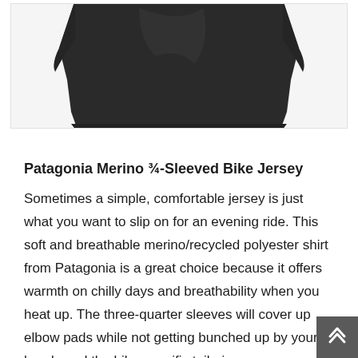[Figure (photo): Partial view of a black Patagonia Merino 3/4-Sleeved Bike Jersey, showing the lower hem and fabric of the garment against a light background.]
Patagonia Merino ¾-Sleeved Bike Jersey
Sometimes a simple, comfortable jersey is just what you want to slip on for an evening ride. This soft and breathable merino/recycled polyester shirt from Patagonia is a great choice because it offers warmth on chilly days and breathability when you heat up. The three-quarter sleeves will cover up elbow pads while not getting bunched up by your hands and the bike-specific tailoring means a longer back hem and tailored seams. A thin cord at the neck lets you dry the sweat out without stretching it.